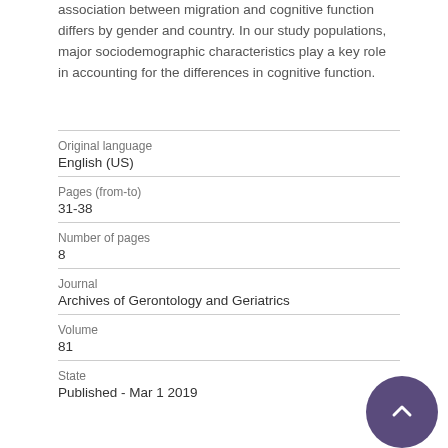association between migration and cognitive function differs by gender and country. In our study populations, major sociodemographic characteristics play a key role in accounting for the differences in cognitive function.
| Original language | English (US) |
| Pages (from-to) | 31-38 |
| Number of pages | 8 |
| Journal | Archives of Gerontology and Geriatrics |
| Volume | 81 |
| State | Published - Mar 1 2019 |